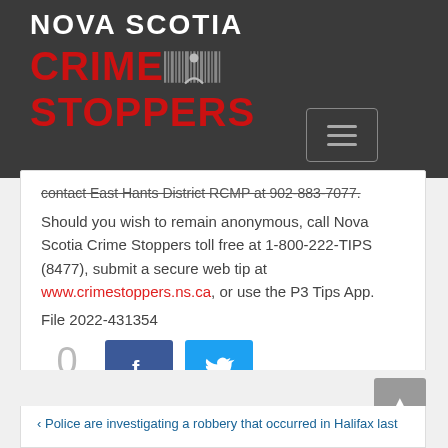[Figure (logo): Nova Scotia Crime Stoppers logo with red CRIME STOPPERS text and barcode/figure graphic on dark gray background]
[Figure (other): Navigation toggle/hamburger button with three horizontal lines]
contact East Hants District RCMP at 902-883-7077.
Should you wish to remain anonymous, call Nova Scotia Crime Stoppers toll free at 1-800-222-TIPS (8477), submit a secure web tip at www.crimestoppers.ns.ca, or use the P3 Tips App.
File 2022-431354
[Figure (other): Social share section showing 0 SHARES count with Facebook (blue) and Twitter (cyan) share buttons]
Police are investigating a robbery that occurred in Halifax last